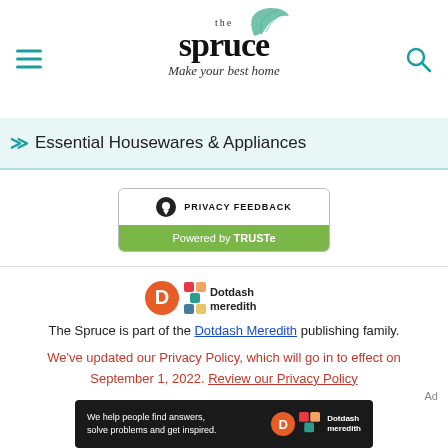[Figure (logo): The Spruce logo with leaf illustration and tagline 'Make your best home']
Essential Housewares & Appliances
[Figure (logo): Privacy Feedback button powered by TRUSTe]
[Figure (logo): Dotdash Meredith logo]
The Spruce is part of the Dotdash Meredith publishing family.
We've updated our Privacy Policy, which will go in to effect on September 1, 2022. Review our Privacy Policy
Ad
[Figure (screenshot): Dotdash Meredith ad banner: 'We help people find answers, solve problems and get inspired.']